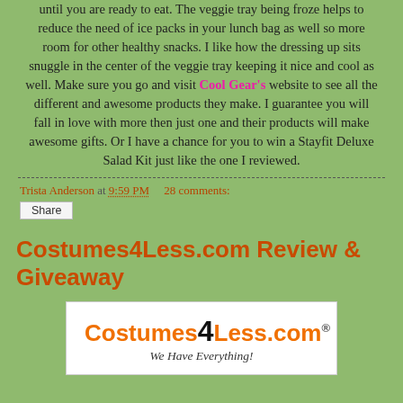until you are ready to eat. The veggie tray being froze helps to reduce the need of ice packs in your lunch bag as well so more room for other healthy snacks. I like how the dressing up sits snuggle in the center of the veggie tray keeping it nice and cool as well. Make sure you go and visit Cool Gear's website to see all the different and awesome products they make. I guarantee you will fall in love with more then just one and their products will make awesome gifts. Or I have a chance for you to win a Stayfit Deluxe Salad Kit just like the one I reviewed.
Trista Anderson at 9:59 PM    28 comments:
Share
Costumes4Less.com Review & Giveaway
[Figure (logo): Costumes4Less.com logo with orange stylized text reading 'Costumes4Less.com' with a large black '4', registration mark, and italic tagline 'We Have Everything!' on white background]